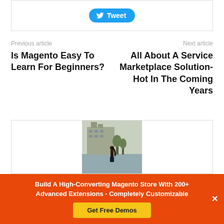[Figure (other): Tweet button in a bordered box]
Previous article
Next article
Is Magento Easy To Learn For Beginners?
All About A Service Marketplace Solution- Hot In The Coming Years
[Figure (photo): Photo of a woman standing near water with a building in background, inside a bordered card]
Build A High-Converting Magento Store With 200+ Advanced Extensions - Completely Customizable
Get Free Demos